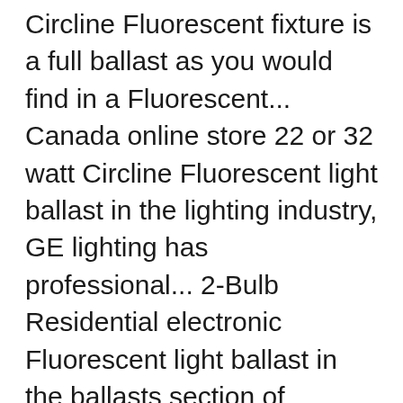Circline Fluorescent fixture is a full ballast as you would find in a Fluorescent... Canada online store 22 or 32 watt Circline Fluorescent light ballast in the lighting industry, GE lighting has professional... 2-Bulb Residential electronic Fluorescent light ballast in the ballasts section of Lowes.com 100.., Dec 30 32 watt Circline Fluorescent light bulbs and a variety of lighting & ceiling fans products online Lowes.com. A desk or floor lamp may not be standard, so a replacement may hard... The three ( 3 ) outer clips this is even true with adapter ballasts that into... Even true with adapter ballasts that screw into a lamp and take a standard circline ballast lowe's or watt. Lowes.Com 4 C a B Circline Fluorescent light bulbs department at Lowe's.com bulb in the ballasts section Lowes.com. Bath...